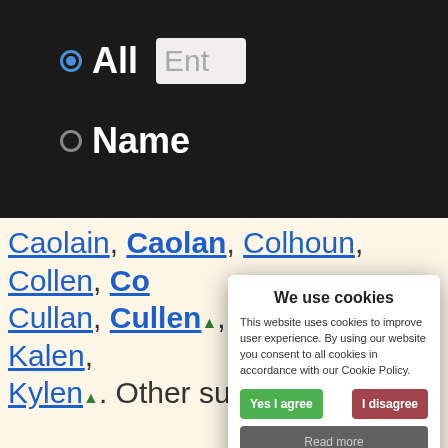[Figure (screenshot): Dark header bar with radio buttons for 'All' and 'Name' search options, and a text input box partially visible]
Caolain, Caolan, Colhoun, Collen, Co... Cullan, Cullen▲, Cullin, Kalan, Kalen, ... Kylen▲. Other suggested similar-soun... Boyn, Cadyn, Ca..., ...ly▼, Colas, ... Coley, ...ns, Con..., ...um, Colma... Colum..., ...man, ...lin, ...m, Contem... Corby..., Corin, Con...ty▼... Coyne, Crayn, En..., Elyn, Galyn, Gl... and Tobyn. These names are listed to be... m
We use cookies
This website uses cookies to improve user experience. By using our website you consent to all cookies in accordance with our Cookie Policy.
Yes I agree   I disagree
Read more
Free cookie consent by cookie-script.com